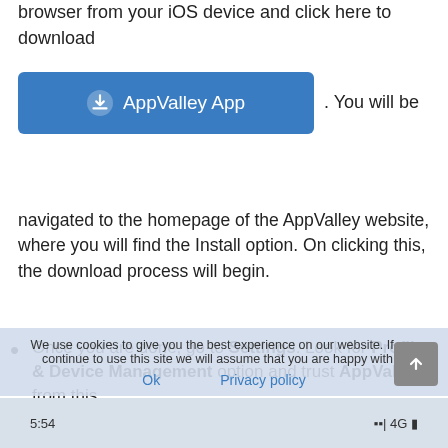First, you need to open the Safari browser from your iOS device and click here to download
[Figure (screenshot): Blue download button labeled 'AppValley App' with a cloud download icon, followed by text '. You will be']
navigated to the homepage of the AppValley website, where you will find the Install option. On clicking this, the download process will begin.
Once you are done, go to Settings. Look for Profile & Device Management option and trust AppValley from this.
Now you can open AppValley. On the search bar at the top, type BBM++.
We use cookies to give you the best experience on our website. If you continue to use this site we will assume that you are happy with it.
Ok   Privacy policy
5:54   ●●| 4G ■